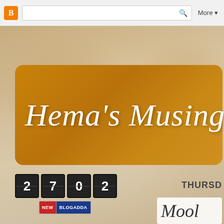Blogger navigation bar with search and More button
Hema's Musings
2702 (visitor counter)
[Figure (logo): New BlogAdda badge with red NEW label and blue BLOGADDA label]
THURSDAY
Mool (partial blog post title)